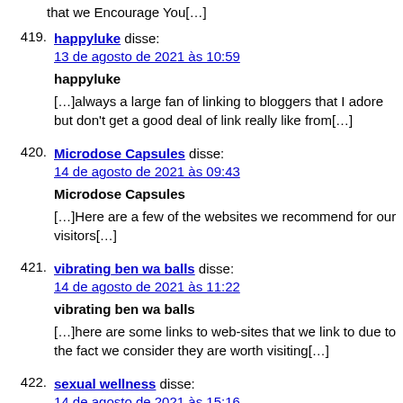that we Encourage You[…]
419. happyluke disse:
13 de agosto de 2021 às 10:59
happyluke
[…]always a large fan of linking to bloggers that I adore but don’t get a good deal of link really like from[…]
420. Microdose Capsules disse:
14 de agosto de 2021 às 09:43
Microdose Capsules
[…]Here are a few of the websites we recommend for our visitors[…]
421. vibrating ben wa balls disse:
14 de agosto de 2021 às 11:22
vibrating ben wa balls
[…]here are some links to web-sites that we link to due to the fact we consider they are worth visiting[…]
422. sexual wellness disse:
14 de agosto de 2021 às 15:16